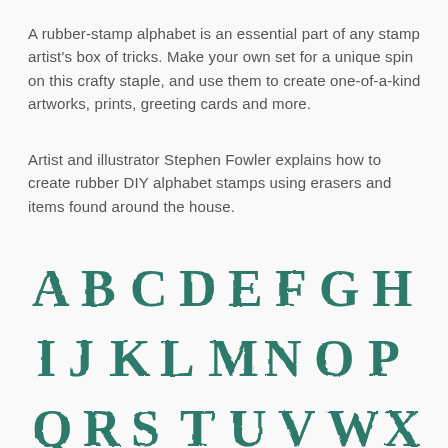A rubber-stamp alphabet is an essential part of any stamp artist's box of tricks. Make your own set for a unique spin on this crafty staple, and use them to create one-of-a-kind artworks, prints, greeting cards and more.
Artist and illustrator Stephen Fowler explains how to create rubber DIY alphabet stamps using erasers and items found around the house.
[Figure (illustration): Rubber stamp alphabet letters A through X shown in three rows in teal/dark green ink with a handmade, slightly worn appearance. Row 1: A B C D E F G H. Row 2: I J K L M N O P. Row 3: Q R S T U V W X (partially visible).]